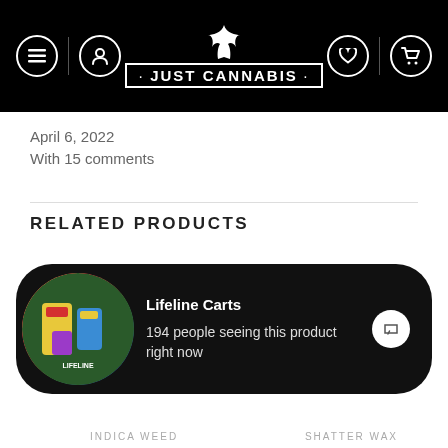[Figure (screenshot): Just Cannabis website header on black background with hamburger menu, user icon, cannabis leaf logo with brand name 'JUST CANNABIS', heart icon, and cart icon]
April 6, 2022
With 15 comments
RELATED PRODUCTS
[Figure (screenshot): Two wishlist heart icons in circles and a Sale! orange badge overlay in the related products section]
[Figure (screenshot): Black notification bar showing Lifeline Carts product with circular photo, text '194 people seeing this product right now', chat bubble icon, and green dot]
INDICA WEED
SHATTER WAX